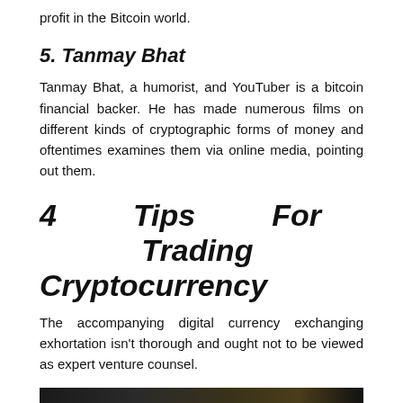profit in the Bitcoin world.
5. Tanmay Bhat
Tanmay Bhat, a humorist, and YouTuber is a bitcoin financial backer. He has made numerous films on different kinds of cryptographic forms of money and oftentimes examines them via online media, pointing out them.
4 Tips For Trading Cryptocurrency
The accompanying digital currency exchanging exhortation isn't thorough and ought not to be viewed as expert venture counsel.
[Figure (photo): A dark photograph, partially visible at the bottom of the page]